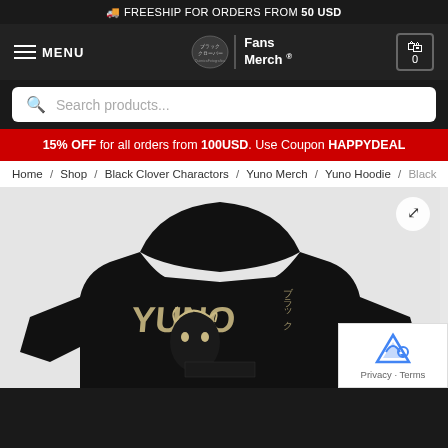🚚 FREESHIP FOR ORDERS FROM 50 USD
[Figure (screenshot): Navigation bar with hamburger MENU icon on left, anime Fans Merch logo in center, and cart icon showing 0 items on right]
Search products...
15% OFF for all orders from 100USD. Use Coupon HAPPYDEAL
Home / Shop / Black Clover Charactors / Yuno Merch / Yuno Hoodie / Black
[Figure (photo): Product photo of a black hoodie featuring anime character Yuno from Black Clover with Japanese text]